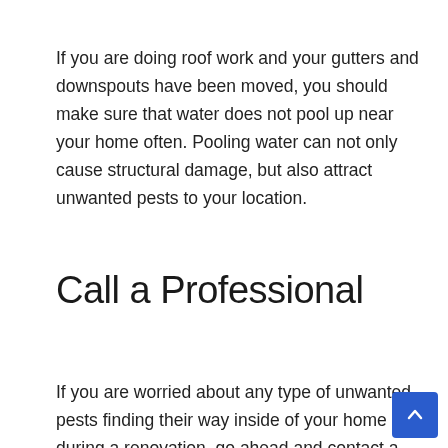If you are doing roof work and your gutters and downspouts have been moved, you should make sure that water does not pool up near your home often. Pooling water can not only cause structural damage, but also attract unwanted pests to your location.
Call a Professional
If you are worried about any type of unwanted pests finding their way inside of your home during a renovation, go ahead and contact a